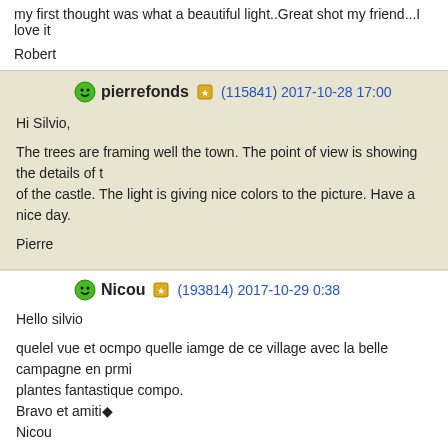my first thought was what a beautiful light..Great shot my friend...I love it
Robert
pierrefonds (115841) 2017-10-28 17:00
Hi Silvio,
The trees are framing well the town. The point of view is showing the details of the castle. The light is giving nice colors to the picture. Have a nice day.
Pierre
Nicou (193814) 2017-10-29 0:38
Hello silvio
quelel vue et ocmpo quelle iamge de ce village avec la belle campagne en prmi plantes fantastique compo.
Bravo et amiti◆
Nicou
holmertz (103882) 2017-10-29 1:52